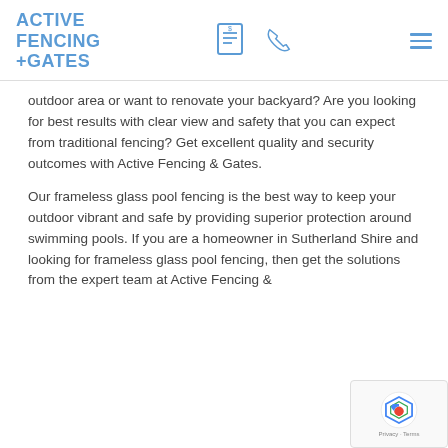ACTIVE FENCING +GATES
outdoor area or want to renovate your backyard? Are you looking for best results with clear view and safety that you can expect from traditional fencing? Get excellent quality and security outcomes with Active Fencing & Gates.
Our frameless glass pool fencing is the best way to keep your outdoor vibrant and safe by providing superior protection around swimming pools. If you are a homeowner in Sutherland Shire and looking for frameless glass pool fencing, then get the solutions from the expert team at Active Fencing &